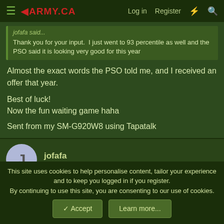4ARMY.CA  Log in  Register
jofa... said:
Thank you for your input.  I just went to 93 percentile as well and the PSO said it is looking very good for this year
Almost the exact words the PSO told me, and I received an offer that year.

Best of luck!
Now the fun waiting game haha

Sent from my SM-G920W8 using Tapatalk
jofafa
Jr. Member
This site uses cookies to help personalise content, tailor your experience and to keep you logged in if you register.
By continuing to use this site, you are consenting to our use of cookies.